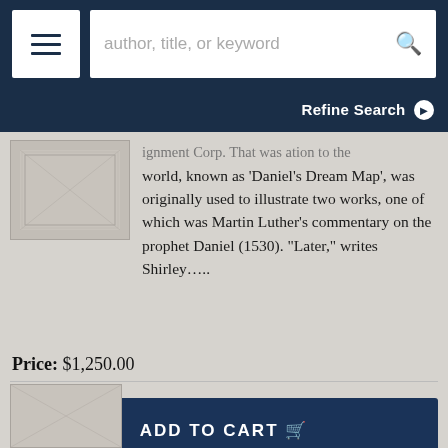author, title, or keyword
Refine Search
...world, known as 'Daniel's Dream Map', was originally used to illustrate two works, one of which was Martin Luther's commentary on the prophet Daniel (1530). "Later," writes Shirley.....
Price: $1,250.00
ADD TO CART
Add to Wish List